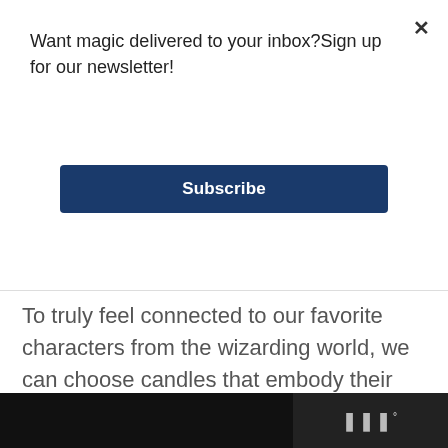Want magic delivered to your inbox?Sign up for our newsletter!
Subscribe
To truly feel connected to our favorite characters from the wizarding world, we can choose candles that embody their spirit and aesthetic.
[Figure (photo): A dark atmospheric photo of a wizarding world great hall scene with warm amber and orange tones, candlelight glowing ambiance, and what appears to be a Christmas tree in the background. Overlaid with a heart/favorite button (dark blue circle with heart icon) and a share badge showing the number 1 with a share icon.]